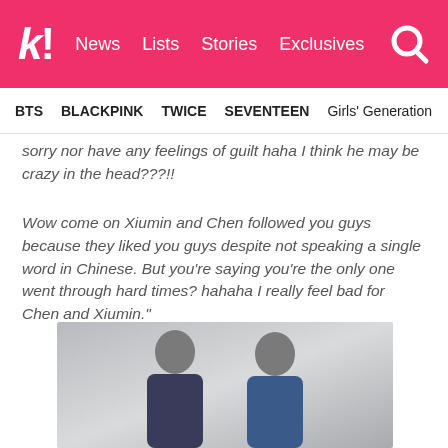k! News Lists Stories Exclusives
BTS BLACKPINK TWICE SEVENTEEN Girls' Generation
sorry nor have any feelings of guilt haha I think he may be crazy in the head???!!
Wow come on Xiumin and Chen followed you guys because they liked you guys despite not speaking a single word in Chinese. But you're saying you're the only one went through hard times? hahaha I really feel bad for Chen and Xiumin."
[Figure (photo): Photo of two young men, one in a dark patterned suit and one in a blue suit, posed in a studio setting against a light grey background.]